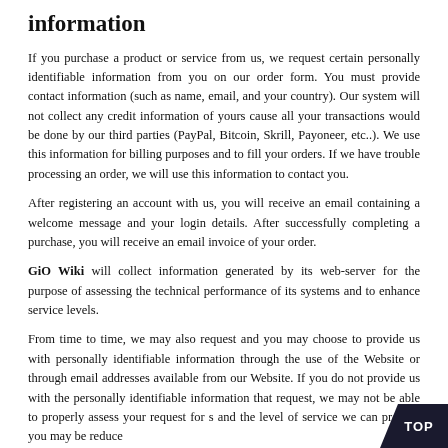information
If you purchase a product or service from us, we request certain personally identifiable information from you on our order form. You must provide contact information (such as name, email, and your country). Our system will not collect any credit information of yours cause all your transactions would be done by our third parties (PayPal, Bitcoin, Skrill, Payoneer, etc..). We use this information for billing purposes and to fill your orders. If we have trouble processing an order, we will use this information to contact you.
After registering an account with us, you will receive an email containing a welcome message and your login details. After successfully completing a purchase, you will receive an email invoice of your order.
GiO Wiki will collect information generated by its web-server for the purpose of assessing the technical performance of its systems and to enhance service levels.
From time to time, we may also request and you may choose to provide us with personally identifiable information through the use of the Website or through email addresses available from our Website. If you do not provide us with the personally identifiable information that request, we may not be able to properly assess your request for s and the level of service we can provide you may be reduce